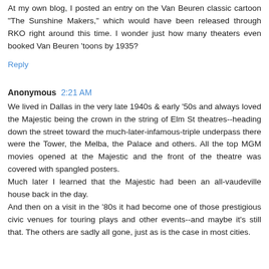At my own blog, I posted an entry on the Van Beuren classic cartoon "The Sunshine Makers," which would have been released through RKO right around this time. I wonder just how many theaters even booked Van Beuren 'toons by 1935?
Reply
Anonymous 2:21 AM
We lived in Dallas in the very late 1940s & early '50s and always loved the Majestic being the crown in the string of Elm St theatres--heading down the street toward the much-later-infamous-triple underpass there were the Tower, the Melba, the Palace and others. All the top MGM movies opened at the Majestic and the front of the theatre was covered with spangled posters. Much later I learned that the Majestic had been an all-vaudeville house back in the day. And then on a visit in the '80s it had become one of those prestigious civic venues for touring plays and other events--and maybe it's still that. The others are sadly all gone, just as is the case in most cities.